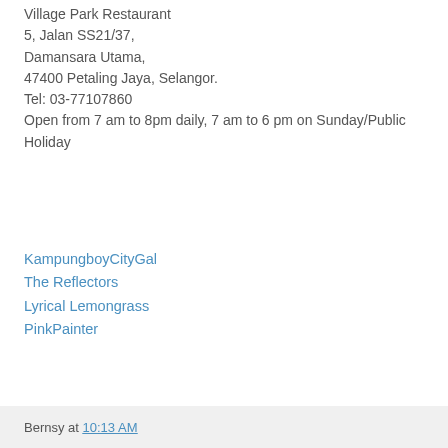Village Park Restaurant
5, Jalan SS21/37,
Damansara Utama,
47400 Petaling Jaya, Selangor.
Tel: 03-77107860
Open from 7 am to 8pm daily, 7 am to 6 pm on Sunday/Public Holiday
KampungboyCityGal
The Reflectors
Lyrical Lemongrass
PinkPainter
Bernsy at 10:13 AM
9 comments:
MeiyeN  Dec 24, 2007, 10:28:00 AM
i heard their nasi lemak is good.. i must try it soon! merry christmas to you and your loved ones! :)